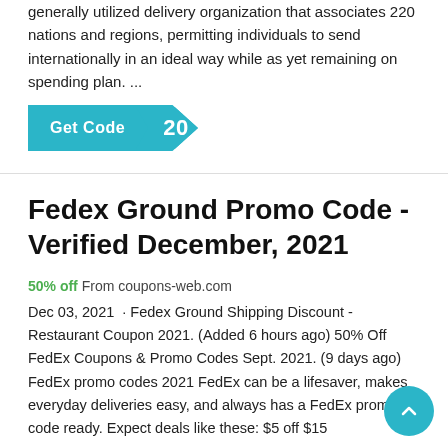generally utilized delivery organization that associates 220 nations and regions, permitting individuals to send internationally in an ideal way while as yet remaining on spending plan. ...
[Figure (other): A teal 'Get Code' button with a notched right edge showing the code value '20']
Fedex Ground Promo Code - Verified December, 2021
50% off From coupons-web.com
Dec 03, 2021  · Fedex Ground Shipping Discount - Restaurant Coupon 2021. (Added 6 hours ago) 50% Off FedEx Coupons & Promo Codes Sept. 2021. (9 days ago) FedEx promo codes 2021 FedEx can be a lifesaver, makes everyday deliveries easy, and always has a FedEx promo code ready. Expect deals like these: $5 off $15